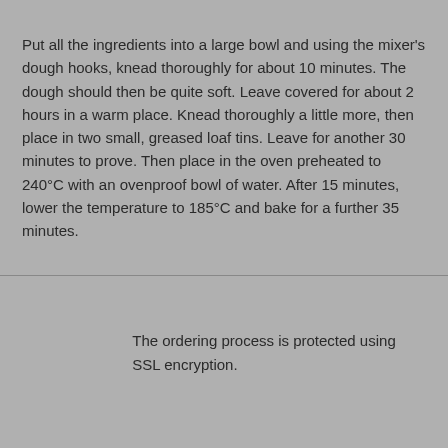Put all the ingredients into a large bowl and using the mixer's dough hooks, knead thoroughly for about 10 minutes. The dough should then be quite soft. Leave covered for about 2 hours in a warm place. Knead thoroughly a little more, then place in two small, greased loaf tins. Leave for another 30 minutes to prove. Then place in the oven preheated to 240°C with an ovenproof bowl of water. After 15 minutes, lower the temperature to 185°C and bake for a further 35 minutes.
The ordering process is protected using SSL encryption.